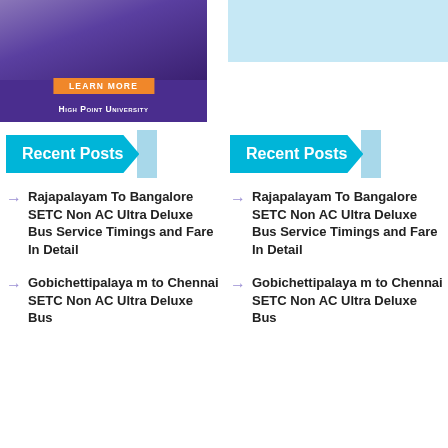[Figure (illustration): High Point University advertisement banner with purple background, orange 'LEARN MORE' button, and university name in white small-caps text]
[Figure (illustration): Light blue rectangle block top right]
Recent Posts
Recent Posts
Rajapalayam To Bangalore SETC Non AC Ultra Deluxe Bus Service Timings and Fare In Detail
Rajapalayam To Bangalore SETC Non AC Ultra Deluxe Bus Service Timings and Fare In Detail
Gobichettipalayam to Chennai SETC Non AC Ultra Deluxe Bus
Gobichettipalayam to Chennai SETC Non AC Ultra Deluxe Bus